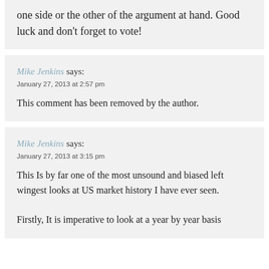one side or the other of the argument at hand. Good luck and don't forget to vote!
Mike Jenkins says:
January 27, 2013 at 2:57 pm

This comment has been removed by the author.
Mike Jenkins says:
January 27, 2013 at 3:15 pm

This Is by far one of the most unsound and biased left wingest looks at US market history I have ever seen.

Firstly, It is imperative to look at a year by year basis